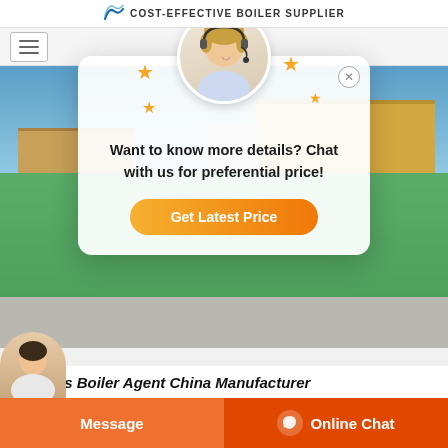COST-EFFECTIVE BOILER SUPPLIER
[Figure (screenshot): Website screenshot showing a chat popup overlay on a boiler supplier website. The popup shows a customer service representative avatar with stars decoration, text 'Want to know more details? Chat with us for preferential price!' and an orange 'Get Latest Price' button. Background shows an aerial factory/industrial campus photo with green lawn and industrial buildings. Bottom navigation has hamburger menu icon. Bottom bar has orange 'Message' and 'Online Chat' buttons with agent avatar.]
Want to know more details? Chat with us for preferential price!
Get Latest Price
Message
Online Chat
Biomass Boiler Agent China Manufacturer